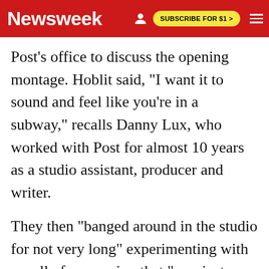Newsweek | SUBSCRIBE FOR $1 >
Post's office to discuss the opening montage. Hoblit said, "I want it to sound and feel like you're in a subway," recalls Danny Lux, who worked with Post for almost 10 years as a studio assistant, producer and writer.
They then "banged around in the studio for not very long" experimenting with a wall of percussion that "was just an assault on the senses." Using that as a foundation, Post toned it down, then added some improvised chords and an English horn for melody. Two